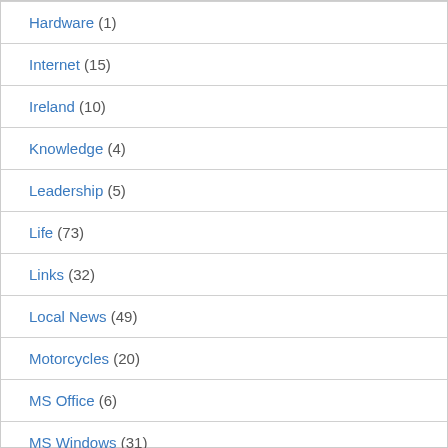Hardware (1)
Internet (15)
Ireland (10)
Knowledge (4)
Leadership (5)
Life (73)
Links (32)
Local News (49)
Motorcycles (20)
MS Office (6)
MS Windows (31)
Music (23)
OneNote (4)
OS X (16)